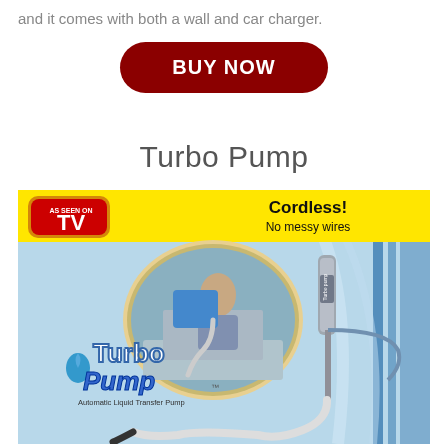and it comes with both a wall and car charger.
BUY NOW
Turbo Pump
[Figure (photo): Turbo Pump product packaging image showing 'As Seen on TV' badge, yellow banner with 'Cordless! No messy wires', oval inset photo of person using pump at sink, Turbo Pump logo, and the actual pump device with hose on blue background. Text: Automatic Liquid Transfer Pump]